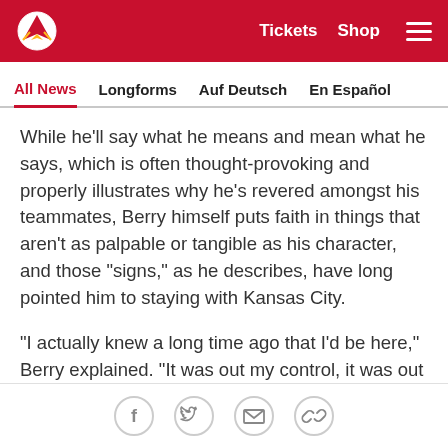Kansas City Chiefs — Tickets  Shop
All News  Longforms  Auf Deutsch  En Español
While he'll say what he means and mean what he says, which is often thought-provoking and properly illustrates why he's revered amongst his teammates, Berry himself puts faith in things that aren't as palpable or tangible as his character, and those "signs," as he describes, have long pointed him to staying with Kansas City.
"I actually knew a long time ago that I'd be here," Berry explained. "It was out my control, it was out of the Chiefs' control as well—I just felt like it was inevitable from the signs of the past. There were too many things
[Figure (other): Social sharing icons: Facebook, Twitter, Email, Link]